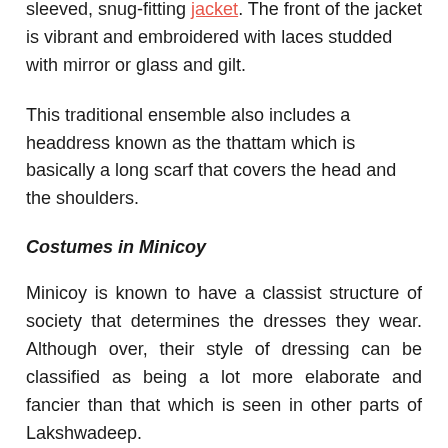sleeved, snug-fitting jacket. The front of the jacket is vibrant and embroidered with laces studded with mirror or glass and gilt.
This traditional ensemble also includes a headdress known as the thattam which is basically a long scarf that covers the head and the shoulders.
Costumes in Minicoy
Minicoy is known to have a classist structure of society that determines the dresses they wear. Although over, their style of dressing can be classified as being a lot more elaborate and fancier than that which is seen in other parts of Lakshwadeep.